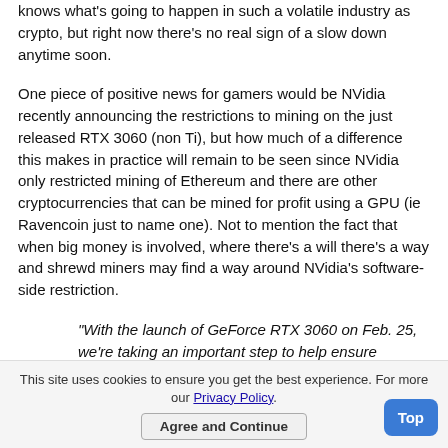knows what's going to happen in such a volatile industry as crypto, but right now there's no real sign of a slow down anytime soon.
One piece of positive news for gamers would be NVidia recently announcing the restrictions to mining on the just released RTX 3060 (non Ti), but how much of a difference this makes in practice will remain to be seen since NVidia only restricted mining of Ethereum and there are other cryptocurrencies that can be mined for profit using a GPU (ie Ravencoin just to name one). Not to mention the fact that when big money is involved, where there's a will there's a way and shrewd miners may find a way around NVidia's software-side restriction.
"With the launch of GeForce RTX 3060 on Feb. 25, we're taking an important step to help ensure GeForce GPUs end up in the hands of gamers. Halving Hash Rate RTX 3060 software drivers are designed to detect specific attributes of the Ethereum cryptocurrency mining algorithm, and limit the hash rate, or cryptocurrency mining efficiency, by around 50 percent"
This site uses cookies to ensure you get the best experience. For more our Privacy Policy. Agree and Continue